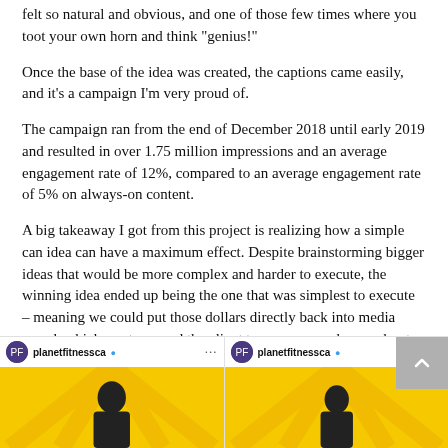felt so natural and obvious, and one of those few times where you toot your own horn and think “genius!”
Once the base of the idea was created, the captions came easily, and it’s a campaign I’m very proud of.
The campaign ran from the end of December 2018 until early 2019 and resulted in over 1.75 million impressions and an average engagement rate of 12%, compared to an average engagement rate of 5% on always-on content.
A big takeaway I got from this project is realizing how a simple can idea can have a maximum effect. Despite brainstorming bigger ideas that would be more complex and harder to execute, the winning idea ended up being the one that was simplest to execute – meaning we could put those dollars directly back into media spend, which our team and the client team was very happy about.
[Figure (screenshot): Two Instagram posts from planetfitnessca with yellow background images showing people. Both posts show the verified planetfitnessca account with three-dot menu.]